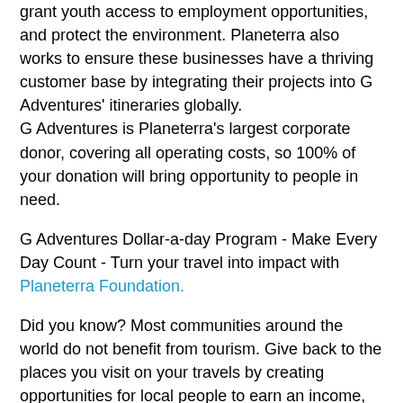grant youth access to employment opportunities, and protect the environment. Planeterra also works to ensure these businesses have a thriving customer base by integrating their projects into G Adventures' itineraries globally.
G Adventures is Planeterra's largest corporate donor, covering all operating costs, so 100% of your donation will bring opportunity to people in need.
G Adventures Dollar-a-day Program - Make Every Day Count - Turn your travel into impact with Planeterra Foundation.
Did you know? Most communities around the world do not benefit from tourism. Give back to the places you visit on your travels by creating opportunities for local people to earn an income, and protect the environment.
Make every day count by donating $1/day for the length of your trip, and join us in empowering the communities you will visit when you travel. 100% of your donation goes directly to Planeterra projects.
Feedback
After your travels, we want to hear from you! Your feedback